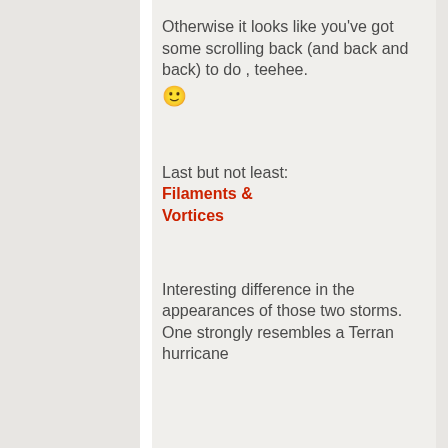Otherwise it looks like you've got some scrolling back (and back and back) to do , teehee. 🙂
Last but not least: Filaments & Vortices
Interesting difference in the appearances of those two storms.  One strongly resembles a Terran hurricane